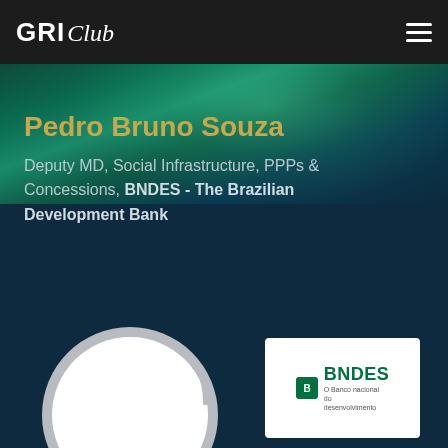GRI Club
[Figure (photo): Aurora borealis background with teal and green lights against dark blue sky]
Pedro Bruno Souza
Deputy MD, Social Infrastructure, PPPs & Concessions, BNDES - The Brazilian Development Bank
[Figure (photo): Circular profile photo placeholder with grey ring border]
[Figure (logo): BNDES - O Banco Nacional de Desenvolvimento logo on white background]